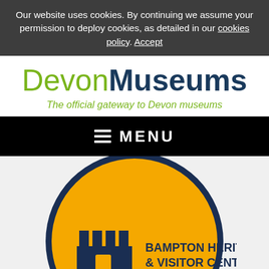Our website uses cookies. By continuing we assume your permission to deploy cookies, as detailed in our cookies policy. Accept
Devon Museums
The official gateway to Devon museums
≡ MENU
[Figure (logo): Bampton Heritage & Visitor Centre circular logo — gold/yellow circle with dark navy blue border, containing a dark navy castle/battlement silhouette icon on the left and the text 'BAMPTON HERITAGE & VISITOR CENTRE' in bold dark navy on the right.]